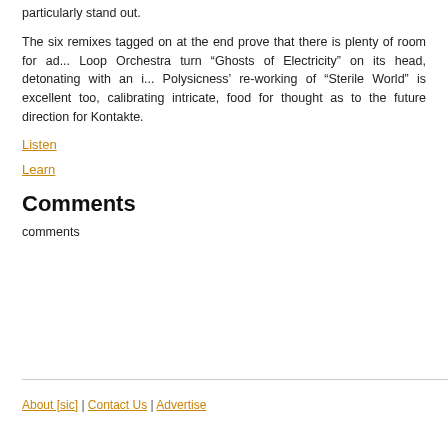particularly stand out.
The six remixes tagged on at the end prove that there is plenty of room for ad... Loop Orchestra turn “Ghosts of Electricity” on its head, detonating with an i... Polysicness’ re-working of “Sterile World” is excellent too, calibrating intricate, food for thought as to the future direction for Kontakte.
Listen
Learn
Comments
comments
About [sic] | Contact Us | Advertise